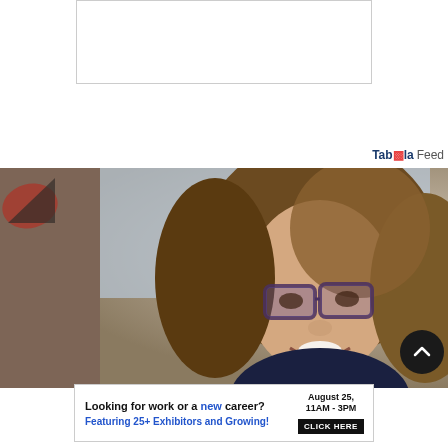[Figure (other): White rectangular advertisement placeholder box with thin border, top center of page]
Taboola Feed
[Figure (photo): Photo strip showing a woman with curly hair and glasses smiling, with a Delta Air Lines logo visible on the left side and a blurred image on the right]
[Figure (other): Dark circular scroll-to-top button with upward chevron arrow]
[Figure (other): Advertisement banner: 'Looking for work or a new career? August 25, 11AM-3PM. Featuring 25+ Exhibitors and Growing! CLICK HERE']